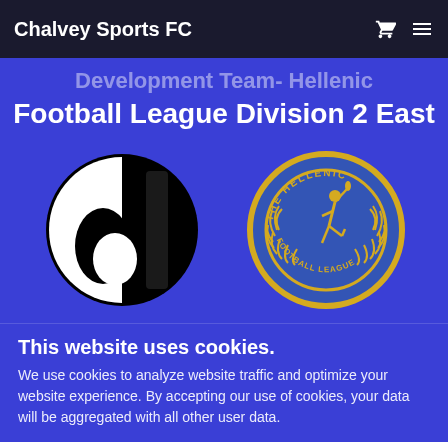Chalvey Sports FC
Development Team- Hellenic Football League Division 2 East
[Figure (logo): Chalvey Sports FC logo - black and white circular badge resembling Uhlsport logo, and The Hellenic Football League circular badge with gold runner figure on blue background]
This website uses cookies.
We use cookies to analyze website traffic and optimize your website experience. By accepting our use of cookies, your data will be aggregated with all other user data.